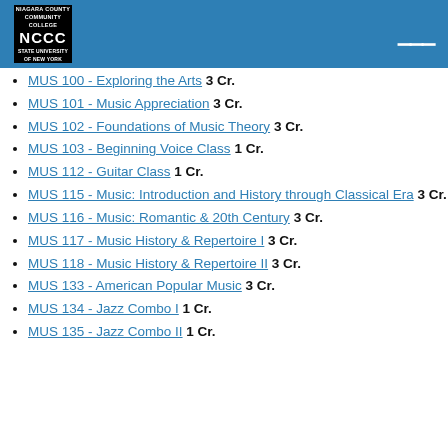[Figure (logo): NCCC - Niagara County Community College logo, State University of New York, white text on black background]
MUS 100 - Exploring the Arts 3 Cr.
MUS 101 - Music Appreciation 3 Cr.
MUS 102 - Foundations of Music Theory 3 Cr.
MUS 103 - Beginning Voice Class 1 Cr.
MUS 112 - Guitar Class 1 Cr.
MUS 115 - Music: Introduction and History through Classical Era 3 Cr.
MUS 116 - Music: Romantic & 20th Century 3 Cr.
MUS 117 - Music History & Repertoire I 3 Cr.
MUS 118 - Music History & Repertoire II 3 Cr.
MUS 133 - American Popular Music 3 Cr.
MUS 134 - Jazz Combo I 1 Cr.
MUS 135 - Jazz Combo II 1 Cr.